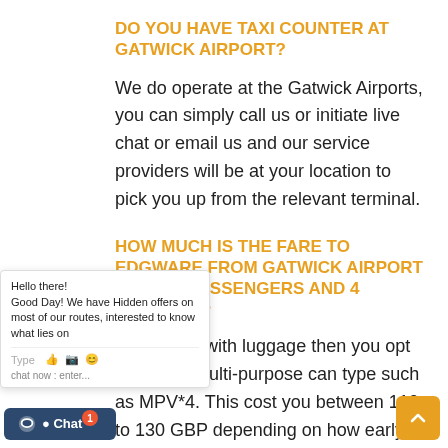DO YOU HAVE TAXI COUNTER AT GATWICK AIRPORT?
We do operate at the Gatwick Airports, you can simply call us or initiate live chat or email us and our service providers will be at your location to pick you up from the relevant terminal.
HOW MUCH IS THE FARE TO EDGWARE FROM GATWICK AIRPORT FOR 4 PASSENGERS AND 4 LUGGAGE?
...are people with luggage then you opt to book a multi-purpose : can type such as MPV*4. This cost you between 110 to 130 GBP depending on how early you book and how busy the runs are.